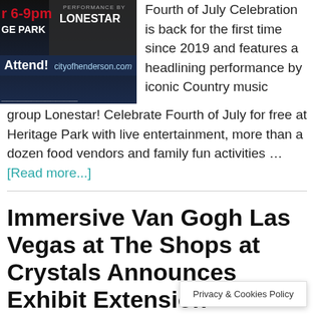[Figure (photo): Event promotional image showing Henderson city Fourth of July event at Heritage Park, 6-9pm, with Performance by Lonestar banner and cityofhenderson.com URL]
Fourth of July Celebration is back for the first time since 2019 and features a headlining performance by iconic Country music group Lonestar! Celebrate Fourth of July for free at Heritage Park with live entertainment, more than a dozen food vendors and family fun activities … [Read more...]
Immersive Van Gogh Las Vegas at The Shops at Crystals Announces Exhibit Extension Through J...